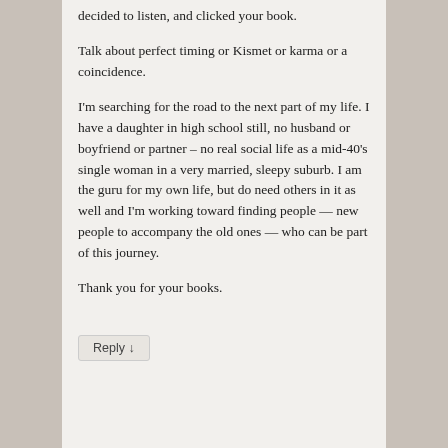decided to listen, and clicked your book.
Talk about perfect timing or Kismet or karma or a coincidence.
I'm searching for the road to the next part of my life. I have a daughter in high school still, no husband or boyfriend or partner – no real social life as a mid-40's single woman in a very married, sleepy suburb. I am the guru for my own life, but do need others in it as well and I'm working toward finding people — new people to accompany the old ones — who can be part of this journey.
Thank you for your books.
Reply ↓